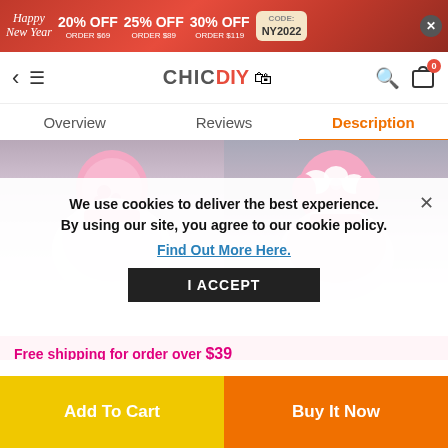[Figure (screenshot): Red promotional banner: 20% OFF ORDER $69, 25% OFF ORDER $89, 30% OFF ORDER $119, CODE: NY2022]
CHICDIY navigation bar with back arrow, menu, logo, search, and cart (0 items)
Overview | Reviews | Description
[Figure (photo): Two pink girls' dresses on gray background]
We use cookies to deliver the best experience. By using our site, you agree to our cookie policy. Find Out More Here.
I ACCEPT
Free shipping for order over $39
Add To Cart | Buy It Now